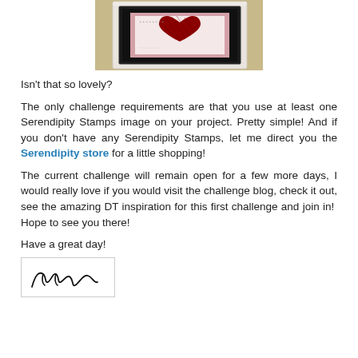[Figure (photo): A framed artwork on a wall showing a heart motif, white decorative frame on a beige/tan wall background.]
Isn't that so lovely?
The only challenge requirements are that you use at least one Serendipity Stamps image on your project. Pretty simple! And if you don't have any Serendipity Stamps, let me direct you the Serendipity store for a little shopping!
The current challenge will remain open for a few more days, I would really love if you would visit the challenge blog, check it out, see the amazing DT inspiration for this first challenge and join in!  Hope to see you there!
Have a great day!
[Figure (illustration): A handwritten signature reading 'Anwa' or similar cursive name in black ink inside a light bordered box.]